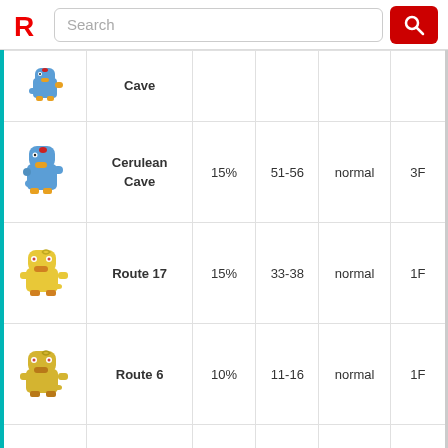[Figure (screenshot): Website header with red R logo, search bar, and red search button]
| Sprite | Location | Rate | Level | Type | Floor |
| --- | --- | --- | --- | --- | --- |
| [Golduck sprite] | Cave |  |  |  |  |
| [Golduck sprite] | Cerulean Cave | 15% | 51-56 | normal | 3F |
| [Psyduck sprite] | Route 17 | 15% | 33-38 | normal | 1F |
| [Psyduck sprite] | Route 6 | 10% | 11-16 | normal | 1F |
| [Psyduck sprite] | Cerulean Cave | 5% | 51-56 | normal | 1F |
| [Psyduck sprite] | Cerulean Cave | 5% | 51-56 | normal | 3F |